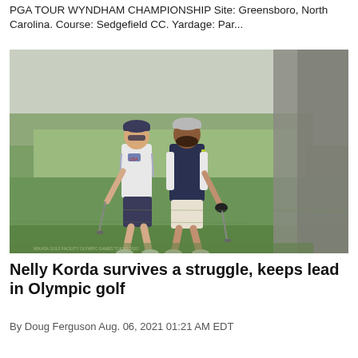PGA TOUR WYNDHAM CHAMPIONSHIP Site: Greensboro, North Carolina. Course: Sedgefield CC. Yardage: Par...
[Figure (photo): Two female golfers walking on a golf course carrying clubs, one wearing a USA uniform and the other in a dark vest, with green grass in the background and a blurred tree in the foreground right.]
Nelly Korda survives a struggle, keeps lead in Olympic golf
By Doug Ferguson Aug. 06, 2021 01:21 AM EDT